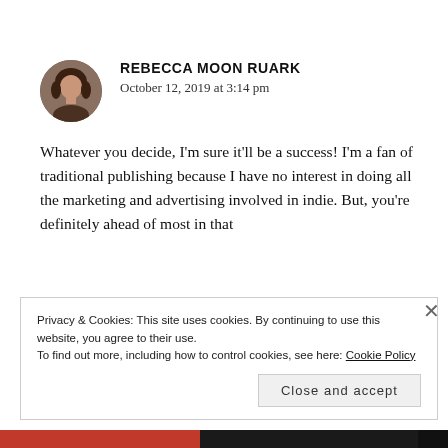REBECCA MOON RUARK
October 12, 2019 at 3:14 pm
Whatever you decide, I'm sure it'll be a success! I'm a fan of traditional publishing because I have no interest in doing all the marketing and advertising involved in indie. But, you're definitely ahead of most in that
Privacy & Cookies: This site uses cookies. By continuing to use this website, you agree to their use.
To find out more, including how to control cookies, see here: Cookie Policy
Close and accept